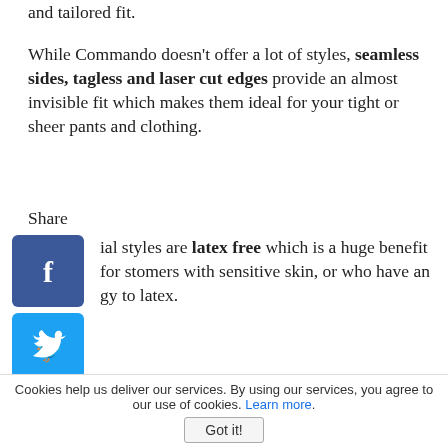and tailored fit.
While Commando doesn't offer a lot of styles, seamless sides, tagless and laser cut edges provide an almost invisible fit which makes them ideal for your tight or sheer pants and clothing.
Share
[Figure (illustration): Facebook, Twitter, and Pinterest social share icons stacked vertically on the left side]
All styles are latex free which is a huge benefit for customers with sensitive skin, or who have an allergy to latex.
Be sure to check size charts on panties before buying. Panty sizes
Cookies help us deliver our services. By using our services, you agree to our use of cookies. Learn more. Got it!